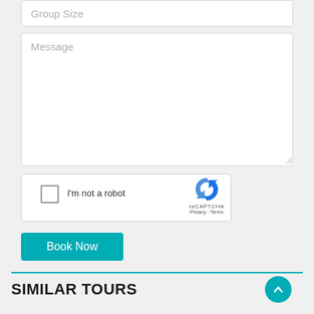[Figure (screenshot): Group Size input field placeholder text]
[Figure (screenshot): Message textarea with placeholder text and resize handle]
[Figure (screenshot): reCAPTCHA widget with checkbox, 'I'm not a robot' text, logo, Privacy and Terms links]
[Figure (screenshot): Book Now teal button]
SIMILAR TOURS
[Figure (screenshot): Back to top teal circular button with upward arrow]